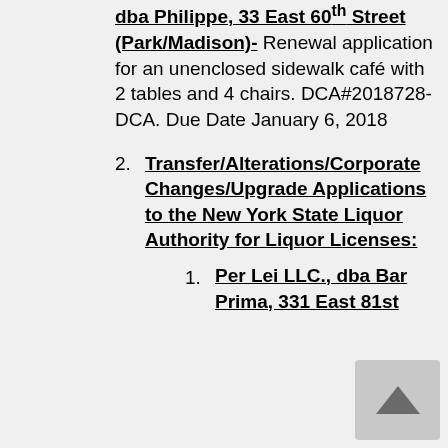dba Philippe, 33 East 60th Street (Park/Madison)- Renewal application for an unenclosed sidewalk café with 2 tables and 4 chairs. DCA#2018728-DCA. Due Date January 6, 2018
Transfer/Alterations/Corporate Changes/Upgrade Applications to the New York State Liquor Authority for Liquor Licenses:
Per Lei LLC., dba Bar Prima, 331 East 81st